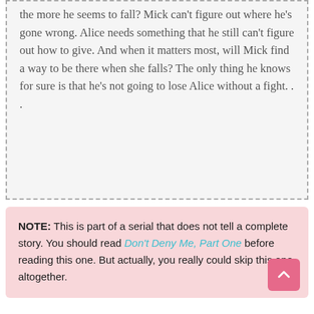the more he seems to fall? Mick can't figure out where he's gone wrong. Alice needs something that he still can't figure out how to give. And when it matters most, will Mick find a way to be there when she falls? The only thing he knows for sure is that he's not going to lose Alice without a fight. . .
NOTE: This is part of a serial that does not tell a complete story. You should read Don't Deny Me, Part One before reading this one. But actually, you really could skip this one altogether.